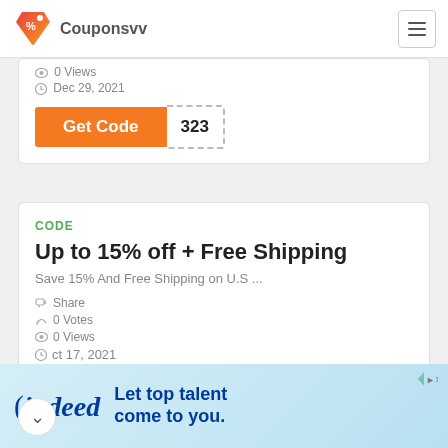Couponsvv
0 Views
Dec 29, 2021
Get Code 323
CODE
Up to 15% off + Free Shipping
Save 15% And Free Shipping on U.S ...
Share
0 Votes
0 Views
ct 17, 2021
[Figure (screenshot): Indeed advertisement banner: Let top talent come to you.]